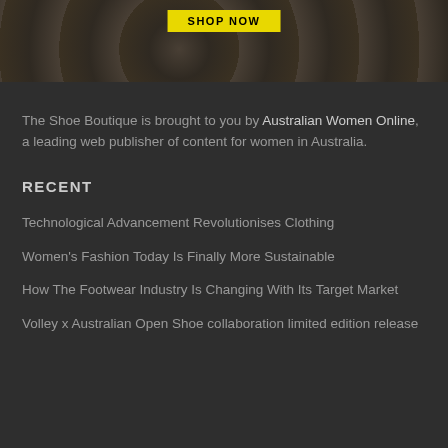[Figure (photo): Dark banner image with floral/decorative pattern and a yellow 'SHOP NOW' button at the top center]
The Shoe Boutique is brought to you by Australian Women Online, a leading web publisher of content for women in Australia.
RECENT
Technological Advancement Revolutionises Clothing
Women's Fashion Today Is Finally More Sustainable
How The Footwear Industry Is Changing With Its Target Market
Volley x Australian Open Shoe collaboration limited edition release